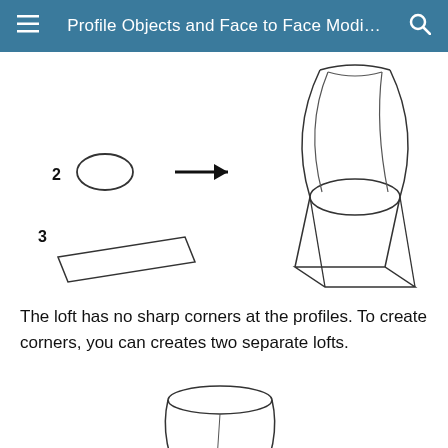Profile Objects and Face to Face Modi…
[Figure (illustration): Technical illustration showing loft operation: label '2' with an ellipse shape on left, black arrow pointing right, and resulting 3D lofted solid on right (hourglass/vase shape with rectangular base and ellipse cross-section); label '3' with a flat parallelogram (rectangular plane) below on left.]
The loft has no sharp corners at the profiles. To create corners, you can creates two separate lofts.
[Figure (illustration): Technical illustration showing partial loft shape: label '1' with a truncated cone/cylinder shape (tapered tube open at top).]